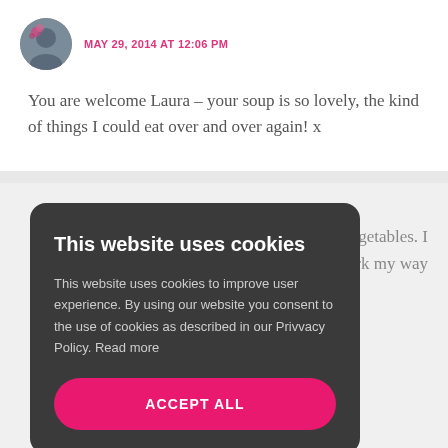[Figure (photo): Circular avatar image of a person with flowers in the background]
MAY 29, 2014 AT 12:06 PM
You are welcome Laura – your soup is so lovely, the kind of things I could eat over and over again! x
vegetables. I work my way
This website uses cookies
This website uses cookies to improve user experience. By using our website you consent to the use of cookies as described in our Privvacy Policy. Read more
ACCEPT ALL